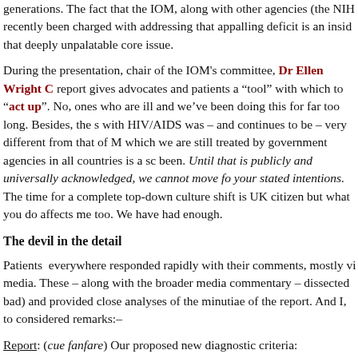generations. The fact that the IOM, along with other agencies (the NIH recently been charged with addressing that appalling deficit is an insid that deeply unpalatable core issue.
During the presentation, chair of the IOM's committee, Dr Ellen Wright C report gives advocates and patients a “tool” with which to “act up”. No, ones who are ill and we’ve been doing this for far too long. Besides, the s with HIV/AIDS was – and continues to be – very different from that of M which we are still treated by government agencies in all countries is a sc been. Until that is publicly and universally acknowledged, we cannot move fo your stated intentions. The time for a complete top-down culture shift is UK citizen but what you do affects me too. We have had enough.
The devil in the detail
Patients everywhere responded rapidly with their comments, mostly vi media. These – along with the broader media commentary – dissected bad) and provided close analyses of the minutiae of the report. And I, to considered remarks:–
Report: (cue fanfare) Our proposed new diagnostic criteria:
->Me: Huh?